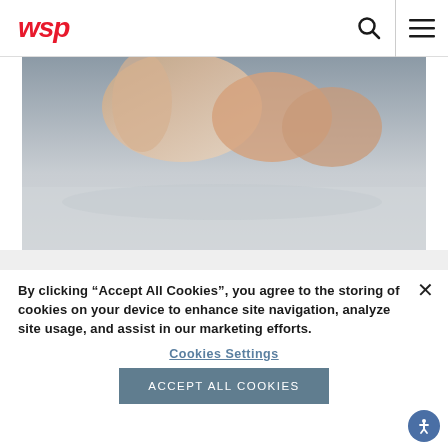wsp
[Figure (photo): Close-up photo of a person's hand resting on a flat surface, blurred background, neutral tones]
By clicking “Accept All Cookies”, you agree to the storing of cookies on your device to enhance site navigation, analyze site usage, and assist in our marketing efforts.
Cookies Settings
Accept All Cookies